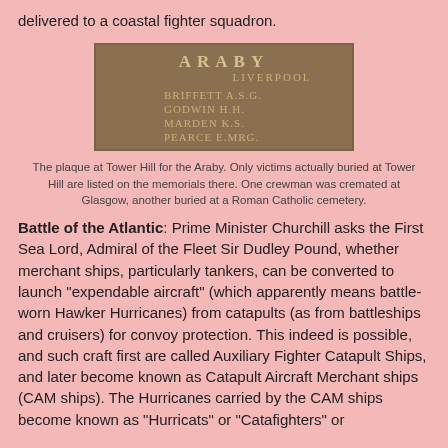delivered to a coastal fighter squadron.
[Figure (photo): A bronze memorial plaque at Tower Hill inscribed with 'ARABY LIVERPOOL' and names: BRIFFETT A.S.G., GODWIN H.H., MARDEN K.S., PEARCE E.MRG.]
The plaque at Tower Hill for the Araby. Only victims actually buried at Tower Hill are listed on the memorials there. One crewman was cremated at Glasgow, another buried at a Roman Catholic cemetery.
Battle of the Atlantic: Prime Minister Churchill asks the First Sea Lord, Admiral of the Fleet Sir Dudley Pound, whether merchant ships, particularly tankers, can be converted to launch "expendable aircraft" (which apparently means battle-worn Hawker Hurricanes) from catapults (as from battleships and cruisers) for convoy protection. This indeed is possible, and such craft first are called Auxiliary Fighter Catapult Ships, and later become known as Catapult Aircraft Merchant ships (CAM ships). The Hurricanes carried by the CAM ships become known as "Hurricats" or "Catafighters" or